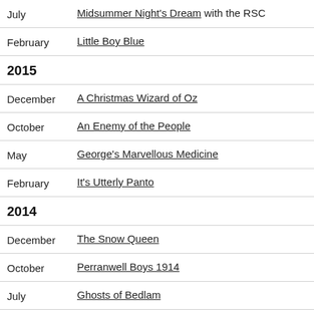July — Midsummer Night's Dream with the RSC
February — Little Boy Blue
2015
December — A Christmas Wizard of Oz
October — An Enemy of the People
May — George's Marvellous Medicine
February — It's Utterly Panto
2014
December — The Snow Queen
October — Perranwell Boys 1914
July — Ghosts of Bedlam